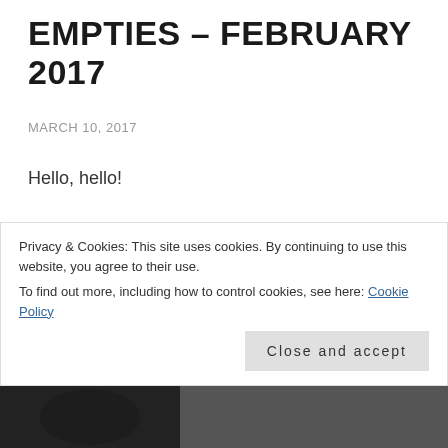EMPTIES – FEBRUARY 2017
MARCH 10, 2017
Hello, hello!
Today I have my monthly empties for February. I didn't finish up as much as I thought I would this month. Sometimes a product just hangs on and takes forever to finish up that last little bit! But I have been really good at sticking to low buy where I have to use things up before buying more.
Privacy & Cookies: This site uses cookies. By continuing to use this website, you agree to their use.
To find out more, including how to control cookies, see here: Cookie Policy
[Figure (photo): Partial bottom strip showing a dark image, likely product photo]